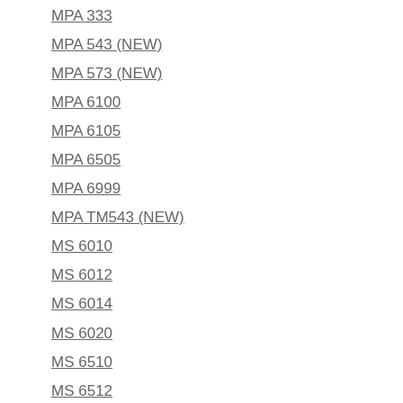MPA 333
MPA 543 (NEW)
MPA 573 (NEW)
MPA 6100
MPA 6105
MPA 6505
MPA 6999
MPA TM543 (NEW)
MS 6010
MS 6012
MS 6014
MS 6020
MS 6510
MS 6512
MS 6514
MS 6530
MS 6900
MT 400
MT 435